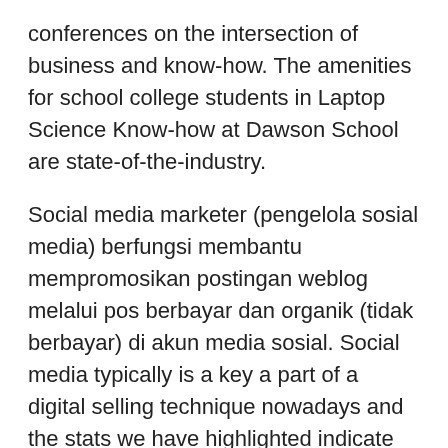conferences on the intersection of business and know-how. The amenities for school college students in Laptop Science Know-how at Dawson School are state-of-the-industry.
Social media marketer (pengelola sosial media) berfungsi membantu mempromosikan postingan weblog melalui pos berbayar dan organik (tidak berbayar) di akun media sosial. Social media typically is a key a part of a digital selling technique nowadays and the stats we have highlighted indicate the growth each on natural and paid social.
Selling Expert is a digital market and on-line promoting best multi vendor wordpress theme 2016 3a WordPress theme with 7 demos.Posted on May 19 2016 by Marisa Tracie in Weblog Enterprise Enchancment WordPress In the intervening time we dwell social media selling and